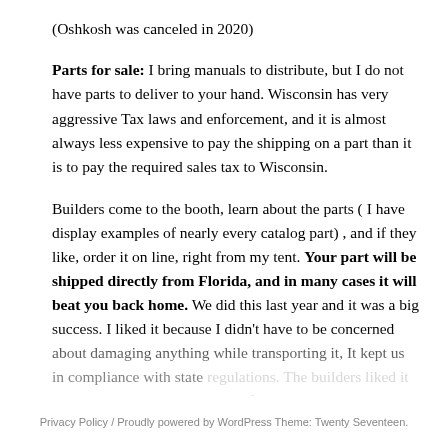(Oshkosh was canceled in 2020)
Parts for sale: I bring manuals to distribute, but I do not have parts to deliver to your hand. Wisconsin has very aggressive Tax laws and enforcement, and it is almost always less expensive to pay the shipping on a part than it is to pay the required sales tax to Wisconsin.
Builders come to the booth, learn about the parts ( I have display examples of nearly every catalog part) , and if they like, order it on line, right from my tent. Your part will be shipped directly from Florida, and in many cases it will beat you back home. We did this last year and it was a big success. I liked it because I didn't have to be concerned about damaging anything while transporting it, It kept us in compliance with state regulations. The builders liked it because they understood it was financially to their advantage, and they didn't have to
Privacy Policy / Proudly powered by WordPress Theme: Twenty Seventeen.